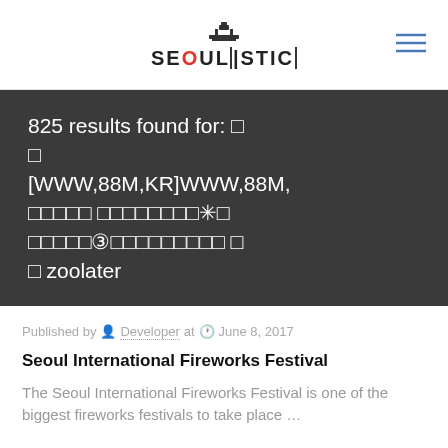SEOULISTIC
825 results found for: 빠 빠 [WWW,88M,KR]WWW,88M,빠빠빠빠빠 빠빠빠빠빠빠빠빠✳빠 빠빠빠빠빠③빠빠빠빠빠빠빠빠빠 빠 빠 zoolater
Published by Developer at June 8, 2017
Seoul International Fireworks Festival
The Seoul International Fireworks Festival is one of the biggest fireworks festivals to take place ...